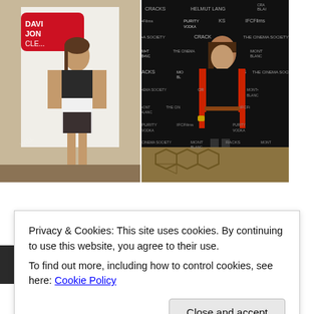[Figure (photo): Woman in black and white printed halter dress posing at David Jones store event]
[Figure (photo): Woman in black dress with red cardigan posing at Cracks / Mont Blanc / IFC Films / Cinema Society event on patterned carpet]
[Figure (photo): Partially visible photo at bottom left, dark toned]
[Figure (photo): Partially visible photo at bottom right with Lexus branding visible]
Privacy & Cookies: This site uses cookies. By continuing to use this website, you agree to their use.
To find out more, including how to control cookies, see here: Cookie Policy
Close and accept